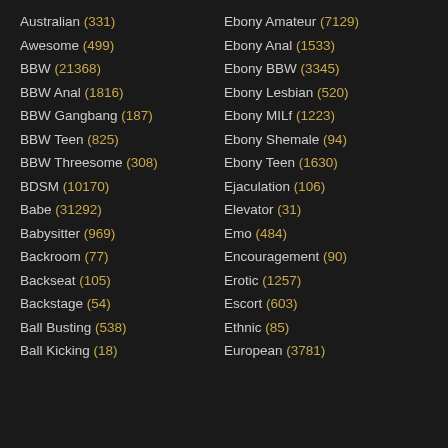Australian (331)
Awesome (499)
BBW (21368)
BBW Anal (1816)
BBW Gangbang (187)
BBW Teen (825)
BBW Threesome (308)
BDSM (10170)
Babe (31292)
Babysitter (969)
Backroom (77)
Backseat (105)
Backstage (54)
Ball Busting (538)
Ball Kicking (18)
Ebony Amateur (7129)
Ebony Anal (1533)
Ebony BBW (3345)
Ebony Lesbian (520)
Ebony MILf (1223)
Ebony Shemale (94)
Ebony Teen (1630)
Ejaculation (106)
Elevator (31)
Emo (484)
Encouragement (90)
Erotic (1257)
Escort (603)
Ethnic (85)
European (3781)